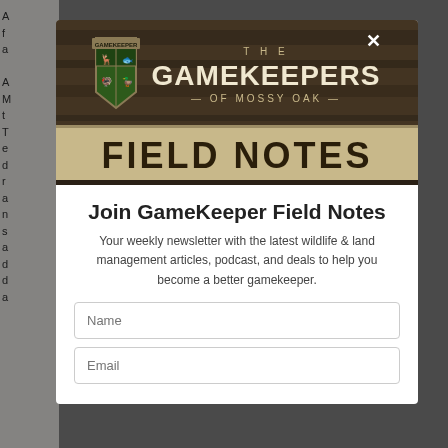[Figure (illustration): The Gamekeepers of Mossy Oak Field Notes newsletter banner — dark camo wood background with Gamekeeper shield logo and bold 'FIELD NOTES' text on a wooden plank style background]
Join GameKeeper Field Notes
Your weekly newsletter with the latest wildlife & land management articles, podcast, and deals to help you become a better gamekeeper.
Name
Email